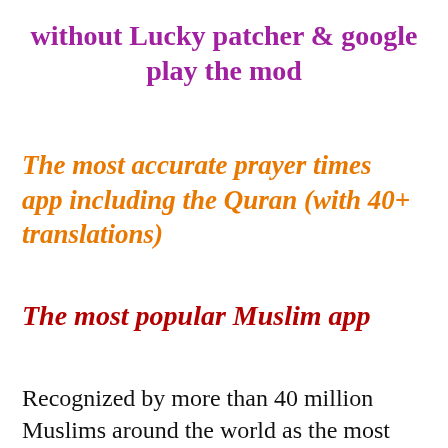without Lucky patcher & google play the mod
The most accurate prayer times app including the Quran (with 40+ translations)
The most popular Muslim app
Recognized by more than 40 million Muslims around the world as the most accurate Prayer time & Azan